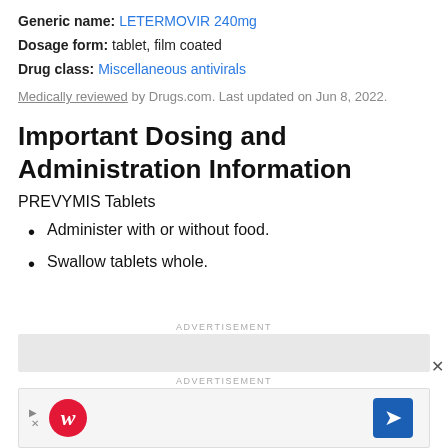Generic name: LETERMOVIR 240mg
Dosage form: tablet, film coated
Drug class: Miscellaneous antivirals
Medically reviewed by Drugs.com. Last updated on Jun 8, 2022.
Important Dosing and Administration Information
PREVYMIS Tablets
Administer with or without food.
Swallow tablets whole.
[Figure (other): Advertisement area with grey placeholder box]
[Figure (other): Advertisement banner with Walgreens logo and navigation icon]